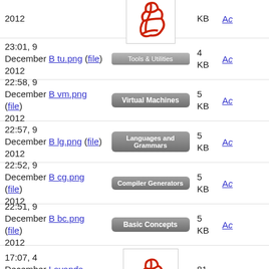2012 (file) [PDF icon] KB
23:01, 9 December B tu.png (file) Tools & Utilities 4 KB
22:58, 9 December B vm.png (file) Virtual Machines 5 KB
22:57, 9 December B lg.png (file) Languages and Grammars 5 KB
22:52, 9 December B cg.png (file) Compiler Generators 5 KB
22:51, 9 December B bc.png (file) Basic Concepts 5 KB
17:07, 4 December Lavanda ANTLR.pdf (file) [PDF icon] 81 KB